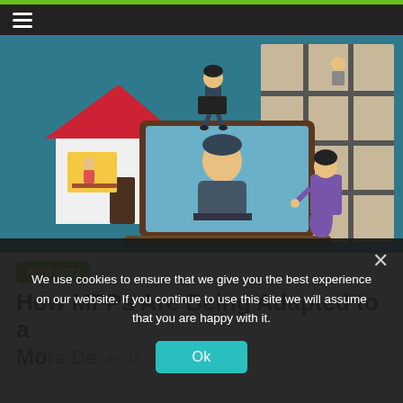≡ (hamburger menu icon)
[Figure (illustration): Illustration of remote/hybrid work scene: a large laptop with a person working at it, a person sitting on top of the laptop screen, a house with someone working inside at a desk, and a person sitting against a grid-patterned window/wall. Teal/dark blue background.]
April 2022
How MFPs Are Being Adapted to a More Decentralized Workforce
We use cookies to ensure that we give you the best experience on our website. If you continue to use this site we will assume that you are happy with it.
Ok